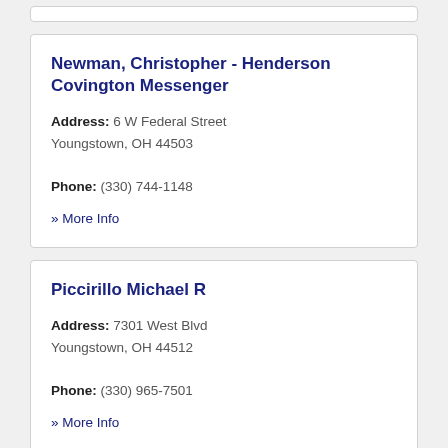Newman, Christopher - Henderson Covington Messenger
Address: 6 W Federal Street
Youngstown, OH 44503
Phone: (330) 744-1148
» More Info
Piccirillo Michael R
Address: 7301 West Blvd
Youngstown, OH 44512
Phone: (330) 965-7501
» More Info